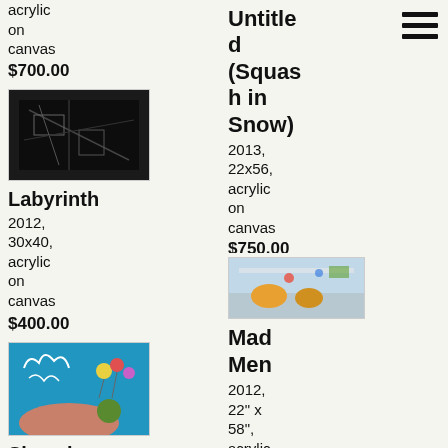acrylic on canvas
$700.00
[Figure (photo): Dark painting thumbnail - Labyrinth]
Labyrinth
2012, 30x40, acrylic on canvas
$400.00
[Figure (photo): Skywriting painting thumbnail - blue with colorful figures]
Skywriting
Untitled (Squash in Snow)
2013, 22x56, acrylic on canvas
$750.00
[Figure (photo): Colorful painting thumbnail - Mad Men]
Mad Men
2012, 22" x 58", acrylic on canvas
$750.00
[Figure (photo): Dark green/brown painting thumbnail]